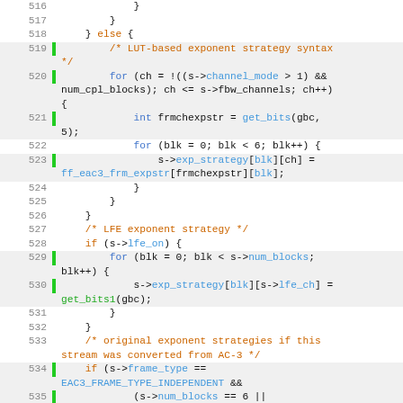[Figure (screenshot): Source code listing showing lines 516-539 of a C file (AC-3/EAC-3 audio decoder), with line numbers in grey, green gutter indicators, and syntax-highlighted code in orange (keywords/comments), blue (identifiers), and black (default text).]